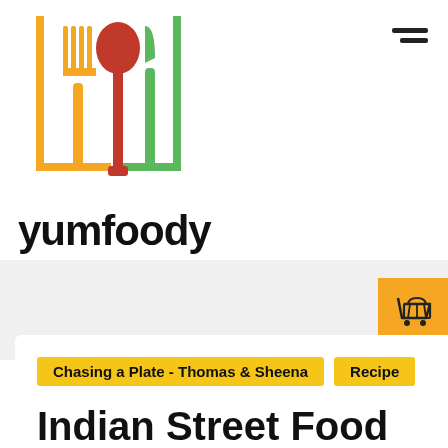[Figure (logo): YumFoody logo with orange fork, red spoon, and green knife inside a bracket frame, with 'yumfoody' text below in bold black]
Indian Street Food
Chasing a Plate - Thomas & Sheena
Recipe